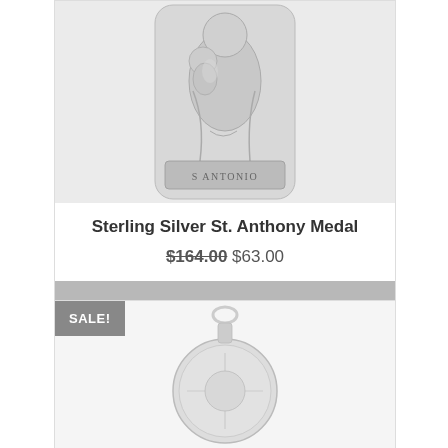[Figure (photo): Sterling silver Saint Anthony medal showing figure holding child Jesus, with 'S ANTONIO' inscribed at base, photographed on light background]
Sterling Silver St. Anthony Medal
$164.00 $63.00
ADD TO CART
SALE!
[Figure (photo): Sterling silver round medal pendant with bail, partially visible at bottom of page, on light background]